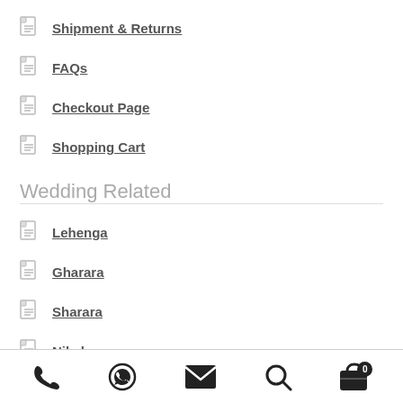Shipment & Returns
FAQs
Checkout Page
Shopping Cart
Wedding Related
Lehenga
Gharara
Sharara
Nikah